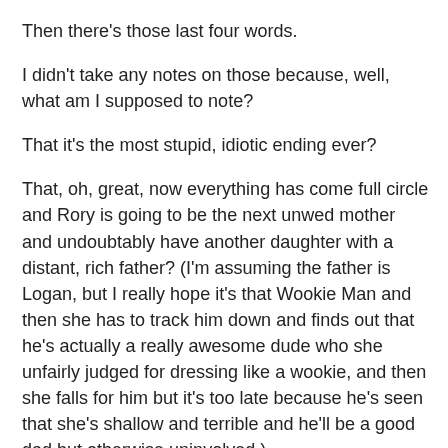Then there's those last four words.
I didn't take any notes on those because, well, what am I supposed to note?
That it's the most stupid, idiotic ending ever?
That, oh, great, now everything has come full circle and Rory is going to be the next unwed mother and undoubtably have another daughter with a distant, rich father? (I'm assuming the father is Logan, but I really hope it's that Wookie Man and then she has to track him down and finds out that he's actually a really awesome dude who she unfairly judged for dressing like a wookie, and then she falls for him but it's too late because he's seen that she's shallow and terrible and he'll be a good dad but otherwise uninvolved.)
For those of you saying, "well, they'll be a sequel now", NOPE. This is how the creator always envisioned ending the story. With this stupid like mother, like daughter, it all comes